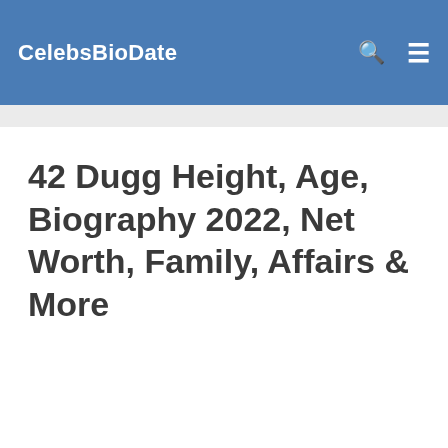CelebsBioDate
42 Dugg Height, Age, Biography 2022, Net Worth, Family, Affairs & More